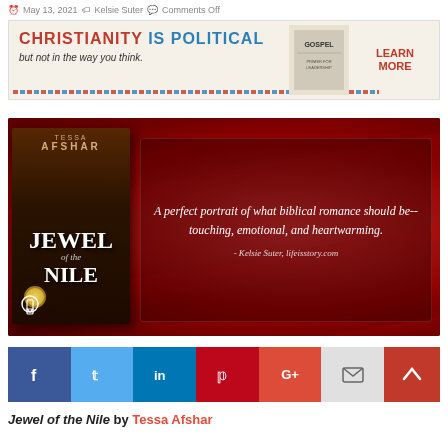May 13, 2021 · Kelsie Suter · Comments Off
[Figure (infographic): Advertisement banner: 'CHRISTIANITY IS POLITICAL but not in the way you think.' with GOSPEL book image and LEARN MORE button]
[Figure (photo): Book promotional graphic on red silk background. Shows book cover 'Jewel of the Nile by Tessa Afshar' on left and a quote on right: 'A perfect portrait of what biblical romance should be--touching, emotional, and heartwarming. - Kelsie Suter, lifeisstory.com']
[Figure (infographic): Social sharing buttons: Facebook, Twitter, LinkedIn, Pinterest, Google+, Email, and scroll-up button]
Jewel of the Nile by Tessa Afshar